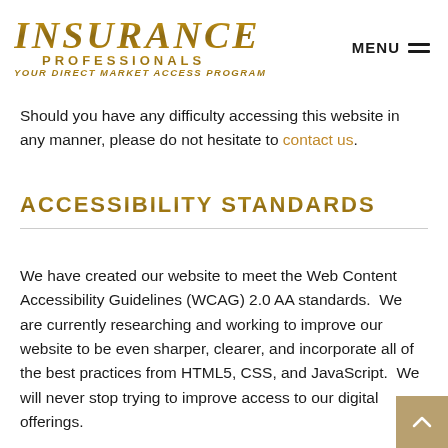INSURANCE PROFESSIONALS Your Direct Market Access Program | MENU
Should you have any difficulty accessing this website in any manner, please do not hesitate to contact us.
ACCESSIBILITY STANDARDS
We have created our website to meet the Web Content Accessibility Guidelines (WCAG) 2.0 AA standards.  We are currently researching and working to improve our website to be even sharper, clearer, and incorporate all of the best practices from HTML5, CSS, and JavaScript.  We will never stop trying to improve access to our digital offerings.